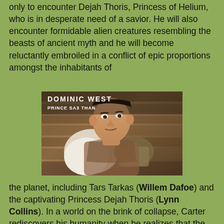only to encounter Dejah Thoris, Princess of Helium, who is in desperate need of a savior. He will also encounter formidable alien creatures resembling the beasts of ancient myth and he will become reluctantly embroiled in a conflict of epic proportions amongst the inhabitants of
[Figure (photo): Movie promotional image for John Carter showing actor Dominic West as Prince Sa3 Than, wearing ornate armor with a white fur piece, looking intensely to the side. Text overlay reads: DOMINIC WEST, PRINCE SA3 THAN]
the planet, including Tars Tarkas (Willem Dafoe) and the captivating Princess Dejah Thoris (Lynn Collins). In a world on the brink of collapse, Carter rediscovers his humanity when he realizes that the survival of Barsoom and its people rests in his hands.
[Figure (photo): Movie promotional image with text JOHN CARTER VS WHITE APES, showing a desert rocky landscape scene]